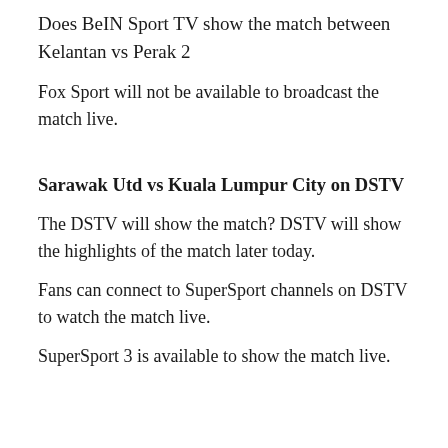Does BeIN Sport TV show the match between Kelantan vs Perak 2
Fox Sport will not be available to broadcast the match live.
Sarawak Utd vs Kuala Lumpur City on DSTV
The DSTV will show the match? DSTV will show the highlights of the match later today.
Fans can connect to SuperSport channels on DSTV to watch the match live.
SuperSport 3 is available to show the match live.